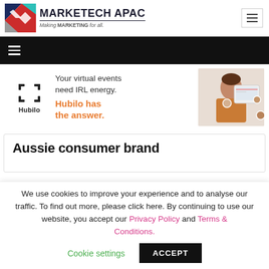MARKETECH APAC — Making MARKETING for all.
[Figure (logo): Marketech APAC logo with colorful geometric arrow icon]
[Figure (infographic): Hubilo virtual events advertisement banner with text: Your virtual events need IRL energy. Hubilo has the answer. Shows woman with floating profile icons.]
Aussie consumer brand
We use cookies to improve your experience and to analyse our traffic. To find out more, please click here. By continuing to use our website, you accept our Privacy Policy and Terms & Conditions.
Cookie settings   ACCEPT